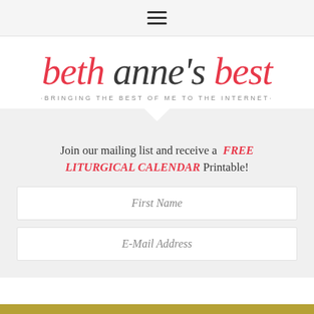Navigation menu (hamburger icon)
[Figure (logo): Beth Anne's Best logo — italic serif text with 'beth' in red/pink, 'anne's' in dark charcoal, 'best' in red/pink, and tagline 'BRINGING THE BEST OF ME TO THE INTERNET' in small spaced caps below]
Join our mailing list and receive a FREE LITURGICAL CALENDAR Printable!
First Name
E-Mail Address